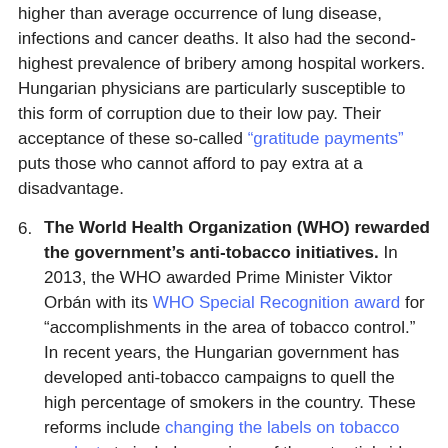higher than average occurrence of lung disease, infections and cancer deaths. It also had the second-highest prevalence of bribery among hospital workers. Hungarian physicians are particularly susceptible to this form of corruption due to their low pay. Their acceptance of these so-called “gratitude payments” puts those who cannot afford to pay extra at a disadvantage.
6. The World Health Organization (WHO) rewarded the government’s anti-tobacco initiatives. In 2013, the WHO awarded Prime Minister Viktor Orbán with its WHO Special Recognition award for “accomplishments in the area of tobacco control.” In recent years, the Hungarian government has developed anti-tobacco campaigns to quell the high percentage of smokers in the country. These reforms include changing the labels on tobacco products to include warnings of the potential side effects of smoking and banning smoking in public spaces. The country has also taken steps to ban advertisements for tobacco products and, since then, has seen a reduction of smoking-related deaths.
7. Reforms to increase the healthcare workforce are in